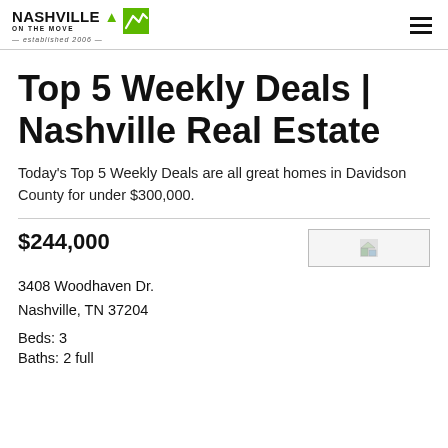Nashville On The Move — established 2006 —
Top 5 Weekly Deals | Nashville Real Estate
Today's Top 5 Weekly Deals are all great homes in Davidson County for under $300,000.
$244,000
[Figure (photo): Property listing photo placeholder]
3408 Woodhaven Dr.
Nashville, TN 37204
Beds: 3
Baths: 2 full